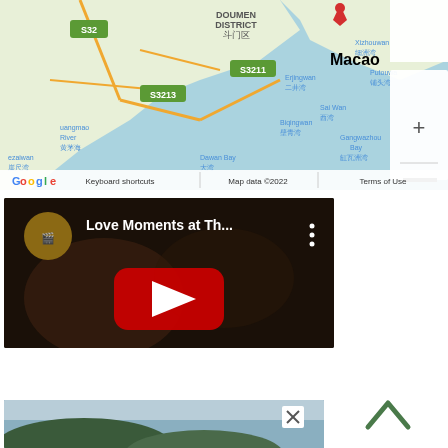[Figure (map): Google Maps screenshot showing Macao and surrounding region including Doumen District, S32, S3211, S3213 roads, Erjingwan, Sai Wan, Gangwazhou Bay, Xizhouwan, Putouwa areas. Red location pin over Macao. Zoom controls (+/-) on right side. Footer shows 'Keyboard shortcuts | Map data ©2022 | Terms of Use'. Google logo bottom left.]
[Figure (screenshot): YouTube video thumbnail with title 'Love Moments at Th...' showing a darkened video frame with a red YouTube play button in the center. A circular channel icon appears top left. Three-dot menu icon top right.]
[Figure (photo): Landscape photo showing mountains and sky, partially visible at bottom of page. Has an X close button in upper right corner of the image frame.]